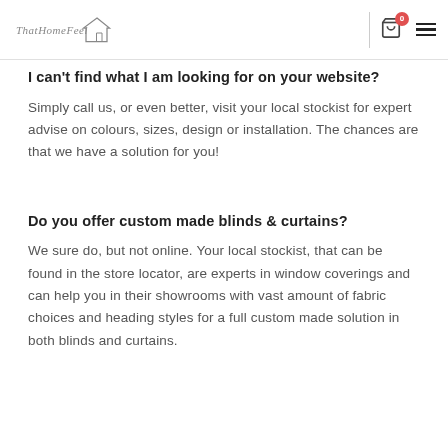That Home Feel — logo, cart (0), hamburger menu
I can't find what I am looking for on your website?
Simply call us, or even better, visit your local stockist for expert advise on colours, sizes, design or installation. The chances are that we have a solution for you!
Do you offer custom made blinds & curtains?
We sure do, but not online. Your local stockist, that can be found in the store locator, are experts in window coverings and can help you in their showrooms with vast amount of fabric choices and heading styles for a full custom made solution in both blinds and curtains.